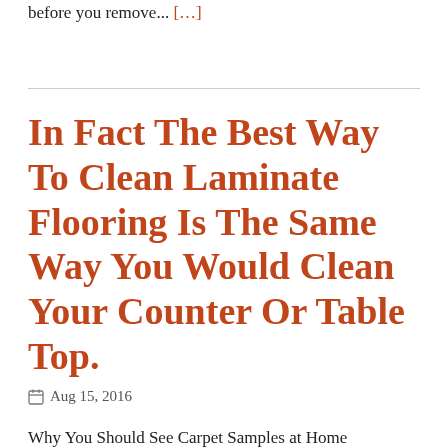before you remove... [...]
In Fact The Best Way To Clean Laminate Flooring Is The Same Way You Would Clean Your Counter Or Table Top.
Aug 15, 2016
Why You Should See Carpet Samples at Home